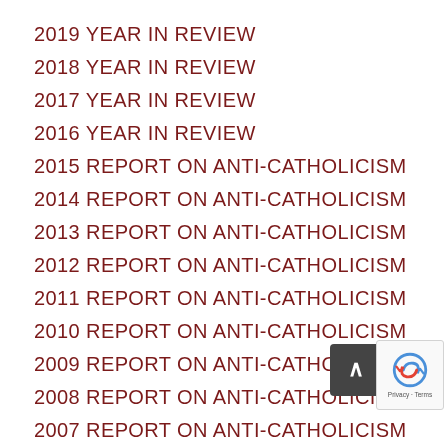2019 YEAR IN REVIEW
2018 YEAR IN REVIEW
2017 YEAR IN REVIEW
2016 YEAR IN REVIEW
2015 REPORT ON ANTI-CATHOLICISM
2014 REPORT ON ANTI-CATHOLICISM
2013 REPORT ON ANTI-CATHOLICISM
2012 REPORT ON ANTI-CATHOLICISM
2011 REPORT ON ANTI-CATHOLICISM
2010 REPORT ON ANTI-CATHOLICISM
2009 REPORT ON ANTI-CATHOLICISM
2008 REPORT ON ANTI-CATHOLICISM
2007 REPORT ON ANTI-CATHOLICISM